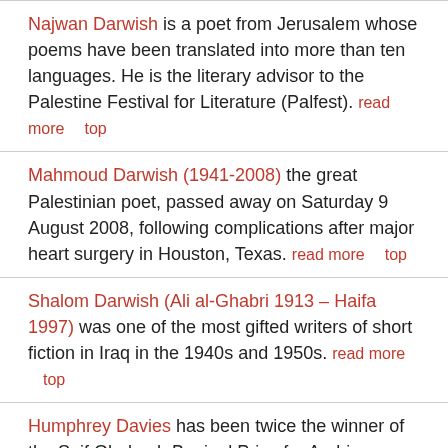Najwan Darwish is a poet from Jerusalem whose poems have been translated into more than ten languages. He is the literary advisor to the Palestine Festival for Literature (Palfest). read more    top
Mahmoud Darwish (1941-2008) the great Palestinian poet, passed away on Saturday 9 August 2008, following complications after major heart surgery in Houston, Texas. read more    top
Shalom Darwish (Ali al-Ghabri 1913 – Haifa 1997) was one of the most gifted writers of short fiction in Iraq in the 1940s and 1950s. read more    top
Humphrey Davies has been twice the winner of the Saif Ghobash Banipal Prize for Arabic Literary Translation (in 2006 and 2010 – the first and fifth years of the prize) and twice runner-up (in 2010 and 2012). read more    top
Georgia de Chamberet is an editor and translator with thirty years of experience in independent publishing. read